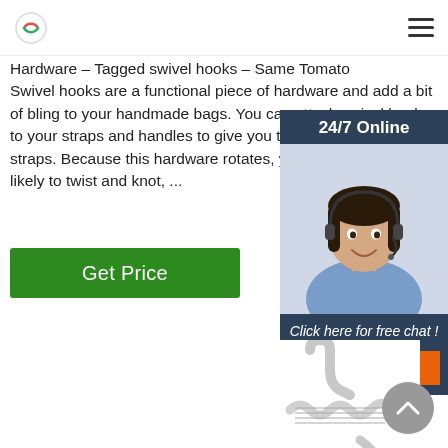Hardware – Tagged swivel hooks – Same Tomato
Swivel hooks are a functional piece of hardware and add a bit of bling to your handmade bags. You can attach swivel hooks to your straps and handles to give you the option t... straps. Because this hardware rotates, your stra... likely to twist and knot, ...
Get Price
[Figure (photo): Customer service agent (woman with headset, smiling) with '24/7 Online' header, 'Click here for free chat!' text, and an orange QUOTATION button, on dark blue background.]
[Figure (photo): Silver/white metal swivel hook hardware product photo on white background.]